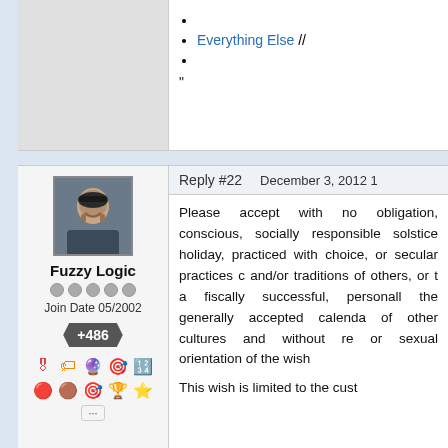Everything Else //
"
Reply #22    December 3, 2012 1
[Figure (photo): User avatar photo of Fuzzy Logic showing a man with beard]
Fuzzy Logic
Join Date 05/2002
+486
Please accept with no obliga conscious, socially responsible solstice holiday, practiced with choice, or secular practices c and/or traditions of others, or t a fiscally successful, personall the generally accepted calenda of other cultures and without re or sexual orientation of the wish
This wish is limited to the cust